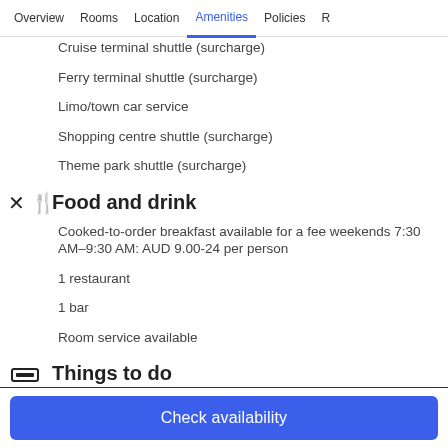Overview  Rooms  Location  Amenities  Policies  R
Cruise terminal shuttle (surcharge)
Ferry terminal shuttle (surcharge)
Limo/town car service
Shopping centre shuttle (surcharge)
Theme park shuttle (surcharge)
Food and drink
Cooked-to-order breakfast available for a fee weekends 7:30 AM–9:30 AM: AUD 9.00-24 per person
1 restaurant
1 bar
Room service available
Things to do
2 outdoor pools
Check availability